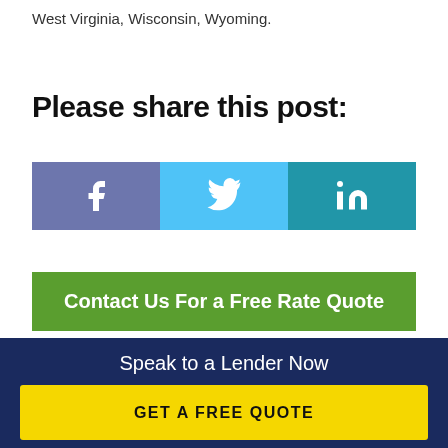West Virginia, Wisconsin, Wyoming.
Please share this post:
[Figure (infographic): Three social share buttons: Facebook (purple), Twitter (light blue), LinkedIn (teal)]
Contact Us For a Free Rate Quote
Speak to a Lender Now
GET A FREE QUOTE